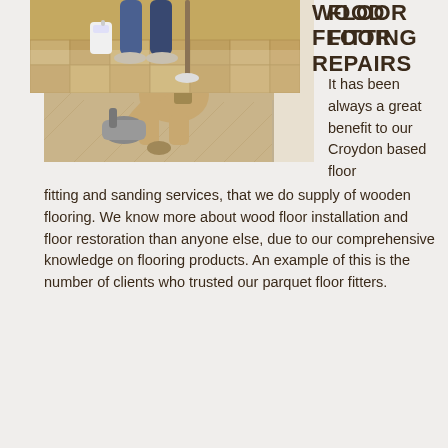[Figure (photo): A worker kneeling on a herringbone wood floor, using a floor fitting/sanding machine tool]
FLOOR FITTING
It has been always a great benefit to our Croydon based floor fitting and sanding services, that we do supply of wooden flooring. We know more about wood floor installation and floor restoration than anyone else, due to our comprehensive knowledge on flooring products. An example of this is the number of clients who trusted our parquet floor fitters.
[Figure (photo): A person applying floor treatment/varnish to a wood parquet floor, with a mop and a container of product]
WOOD FLOOR REPAIRS